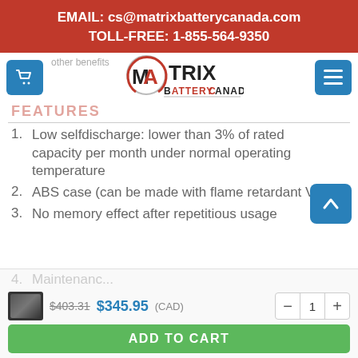EMAIL: cs@matrixbatterycanada.com
TOLL-FREE: 1-855-564-9350
[Figure (logo): Matrix Battery Canada logo — circle with M and A in red, MATRIX in black bold, Battery Canada below]
FEATURES
Low selfdischarge: lower than 3% of rated capacity per month under normal operating temperature
ABS case (can be made with flame retardant V0)
No memory effect after repetitious usage
Maintenance...
$403.31  $345.95 (CAD)
ADD TO CART